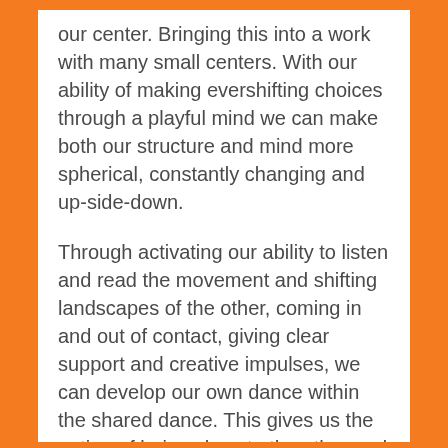our center. Bringing this into a work with many small centers. With our ability of making evershifting choices through a playful mind we can make both our structure and mind more spherical, constantly changing and up-side-down.
Through activating our ability to listen and read the movement and shifting landscapes of the other, coming in and out of contact, giving clear support and creative impulses, we can develop our own dance within the shared dance. This gives us the option of being close to the other and at the same time staying true to our own improvisation. Supporting and escorting each other through space without developing a dependency of touch, and instead being able to use the other as a source of inspiration through their everchanging choices.